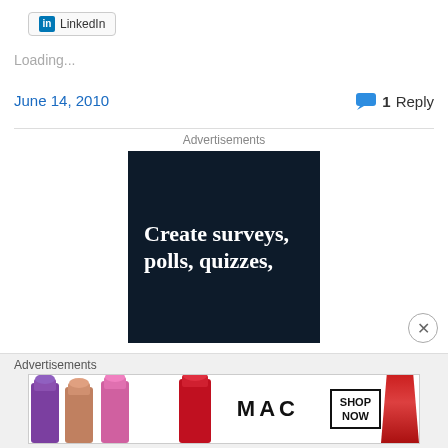[Figure (screenshot): LinkedIn share button with 'in' icon and 'LinkedIn' label]
Loading...
June 14, 2010
1 Reply
Advertisements
[Figure (screenshot): Dark navy advertisement banner reading 'Create surveys, polls, quizzes,']
Advertisements
[Figure (screenshot): MAC cosmetics advertisement with lipsticks and SHOP NOW text]